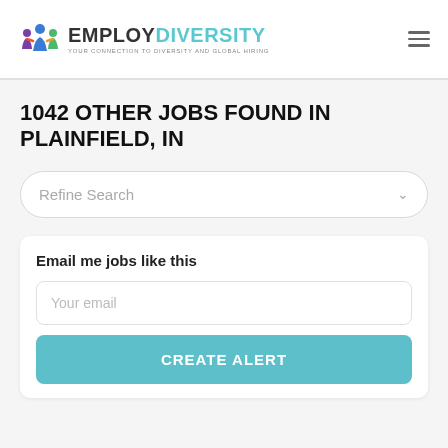EMPLOYDIVERSITY — YOUR CONNECTION TO DIVERSITY AND GLOBAL HIRING
1042 OTHER JOBS FOUND IN PLAINFIELD, IN
Refine Search
Email me jobs like this
Your email
CREATE ALERT